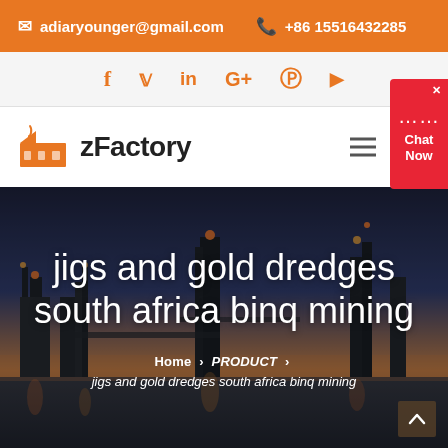✉ adiaryounger@gmail.com  ☎ +86 15516432285
[Figure (other): Social media icons row: Facebook, Twitter, LinkedIn, Google+, Pinterest, YouTube in orange]
[Figure (logo): zFactory logo with orange factory/building icon and bold text 'zFactory']
[Figure (photo): Hero background: industrial/factory scene at dusk with towers and lights reflected in water]
jigs and gold dredges south africa binq mining
Home › PRODUCT › jigs and gold dredges south africa binq mining